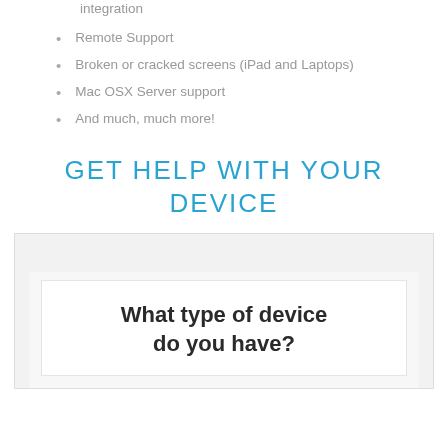integration
Remote Support
Broken or cracked screens (iPad and Laptops)
Mac OSX Server support
And much, much more!
GET HELP WITH YOUR DEVICE
[Figure (screenshot): Web form UI with label and card asking 'What type of device do you have?']